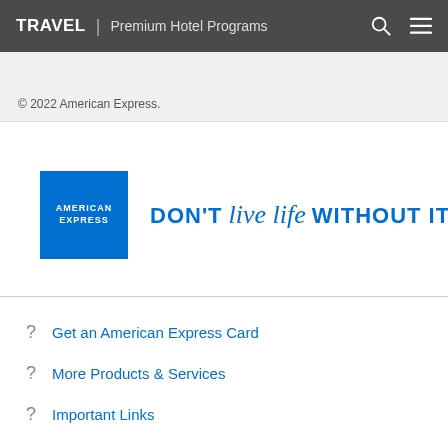TRAVEL | Premium Hotel Programs
© 2022 American Express.
[Figure (logo): American Express logo (blue square with AMERICAN EXPRESS text) alongside the tagline DON'T live life WITHOUT IT™]
Get an American Express Card
More Products & Services
Important Links